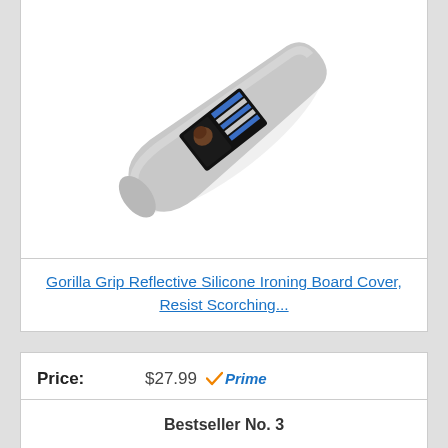[Figure (photo): Gorilla Grip reflective silicone ironing board cover shown at a diagonal angle, light gray color with a product label/sticker in the center]
Gorilla Grip Reflective Silicone Ironing Board Cover, Resist Scorching...
Price: $27.99 Prime
Buy on Amazon
Bestseller No. 3